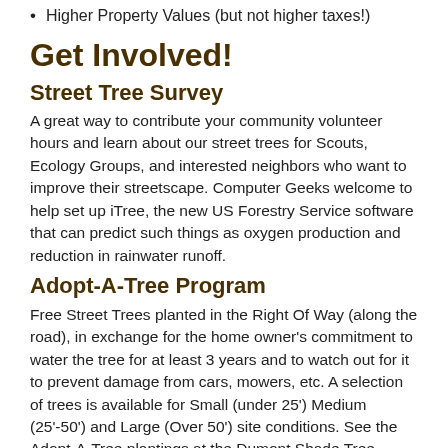Higher Property Values (but not higher taxes!)
Get Involved!
Street Tree Survey
A great way to contribute your community volunteer hours and learn about our street trees for Scouts, Ecology Groups, and interested neighbors who want to improve their streetscape. Computer Geeks welcome to help set up iTree, the new US Forestry Service software that can predict such things as oxygen production and reduction in rainwater runoff.
Adopt-A-Tree Program
Free Street Trees planted in the Right Of Way (along the road), in exchange for the home owner's commitment to water the tree for at least 3 years and to watch out for it to prevent damage from cars, mowers, etc. A selection of trees is available for Small (under 25') Medium (25'-50') and Large (Over 50') site conditions. See the Adopt-A-Tree plantings at the Dumont Shade Tree Arboretum on West Shore Avenue along the railroad tracks. Applications for Spring Planting are due by the last day of January. Applications for Fall Planting are due by the last day of July.